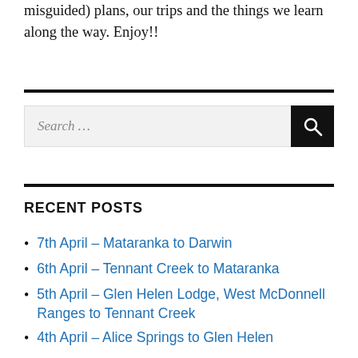misguided) plans, our trips and the things we learn along the way. Enjoy!!
Search …
RECENT POSTS
7th April – Mataranka to Darwin
6th April – Tennant Creek to Mataranka
5th April – Glen Helen Lodge, West McDonnell Ranges to Tennant Creek
4th April – Alice Springs to Glen Helen